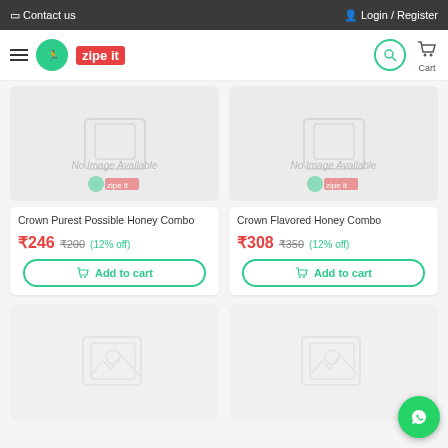Contact us   Login / Register
[Figure (logo): Zipe It logo with hamburger menu, search icon and cart]
[Figure (photo): No Image Available placeholder for Crown Purest Possible Honey Combo]
Crown Purest Possible Honey Combo
₹246  ₹200  (12% off)
Add to cart
[Figure (photo): No Image Available placeholder for Crown Flavored Honey Combo]
Crown Flavored Honey Combo
₹308  ₹350  (12% off)
Add to cart
[Figure (photo): Placeholder image icon for product below left]
[Figure (photo): Placeholder image icon for product below right]